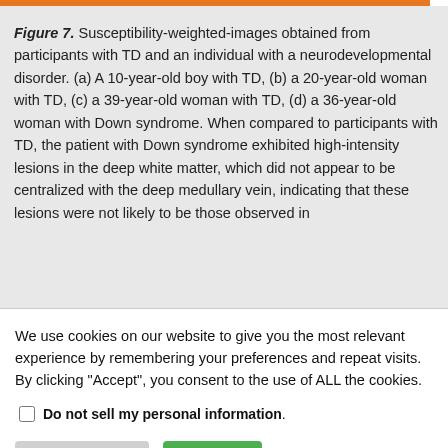Figure 7. Susceptibility-weighted-images obtained from participants with TD and an individual with a neurodevelopmental disorder. (a) A 10-year-old boy with TD, (b) a 20-year-old woman with TD, (c) a 39-year-old woman with TD, (d) a 36-year-old woman with Down syndrome. When compared to participants with TD, the patient with Down syndrome exhibited high-intensity lesions in the deep white matter, which did not appear to be centralized with the deep medullary vein, indicating that these lesions were not likely to be those observed in
We use cookies on our website to give you the most relevant experience by remembering your preferences and repeat visits. By clicking "Accept", you consent to the use of ALL the cookies.
Do not sell my personal information.
Cookie Settings  Accept